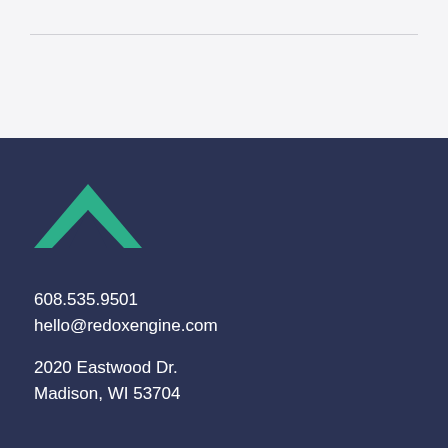[Figure (logo): Redox Engine green tent/chevron logo mark]
608.535.9501
hello@redoxengine.com
2020 Eastwood Dr.
Madison, WI 53704